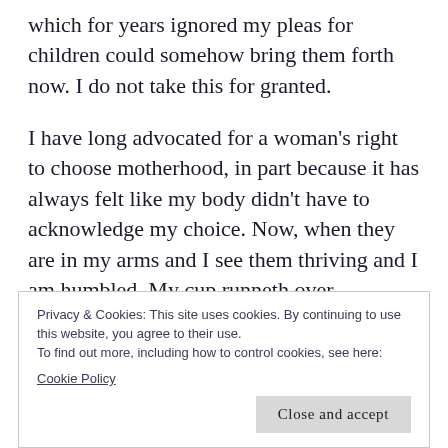which for years ignored my pleas for children could somehow bring them forth now. I do not take this for granted.
I have long advocated for a woman's right to choose motherhood, in part because it has always felt like my body didn't have to acknowledge my choice. Now, when they are in my arms and I see them thriving and I am humbled. My cup runneth over.
I count their fingers and toes. I say prayers over their crowns.  I listen for the soft hum of their
Privacy & Cookies: This site uses cookies. By continuing to use this website, you agree to their use.
To find out more, including how to control cookies, see here:
Cookie Policy
Close and accept